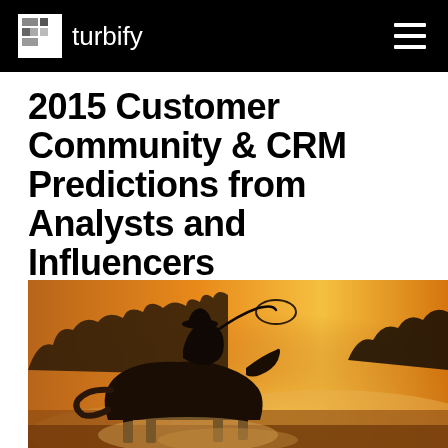turbify
2015 Customer Community & CRM Predictions from Analysts and Influencers
[Figure (photo): Silhouette of a cowboy on horseback swinging a lasso against a warm golden sunset with trees and dust in the background]